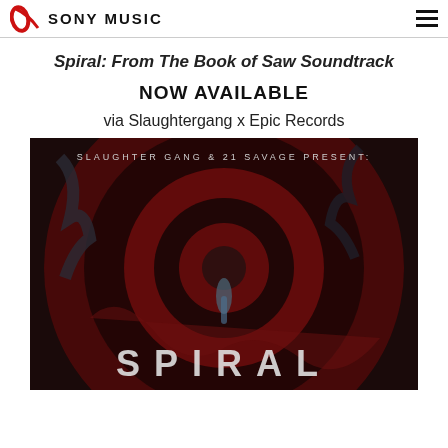SONY MUSIC
Spiral: From The Book of Saw Soundtrack
NOW AVAILABLE
via Slaughtergang x Epic Records
[Figure (photo): Album cover for Spiral: From The Book of Saw Soundtrack presented by Slaughter Gang & 21 Savage. Dark red and black horror-themed artwork showing a spiral design with the word SPIRAL at the bottom.]